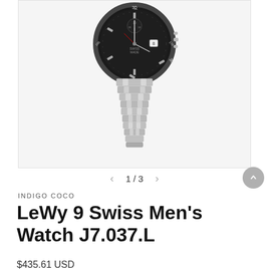[Figure (photo): Product photo of LeWy 9 Swiss Men's Watch J7.037.L showing the watch face with black dial, chronograph subdials, date window, and a silver stainless steel bracelet band against a white background.]
1 / 3
INDIGO COCO
LeWy 9 Swiss Men's Watch J7.037.L
$435.61 USD